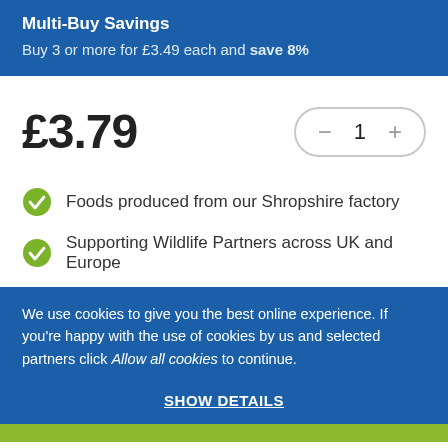Multi-Buy Savings
Buy 3 or more for £3.49 each and save 8%
£3.79
— 1 +
Foods produced from our Shropshire factory
Supporting Wildlife Partners across UK and Europe
We use cookies to give you the best online experience. If you're happy with the use of cookies by us and selected partners click Allow all cookies to continue.
SHOW DETAILS